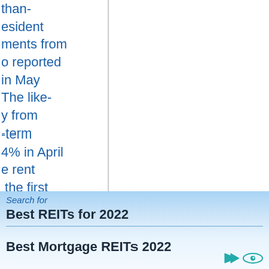than-resident ments from o reported in May The like-y from -term 4% in April e rent the first hange in m effective nd-quarter nology, o. It is also jected core quarter's sts a year-
Best REITs for 2022
Best Mortgage REITs 2022